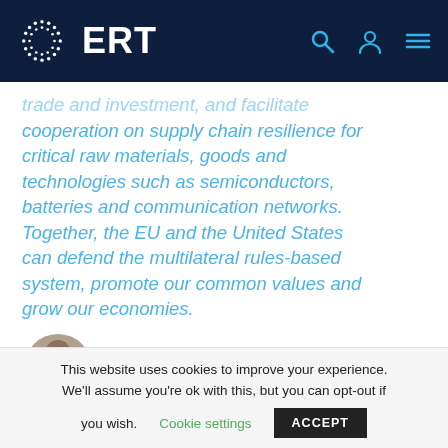ERT
trade and investment, and facilitate cooperation on supply chain resilience for critical raw materials, goods and technologies such as semiconductors, batteries and communication networks. Together, the EU and the United States can defend the multilateral rules-based system, promote our common values and grow our economies.
[Figure (photo): Circular profile photo of a person, partially visible at bottom of content area]
This website uses cookies to improve your experience. We'll assume you're ok with this, but you can opt-out if you wish. Cookie settings ACCEPT